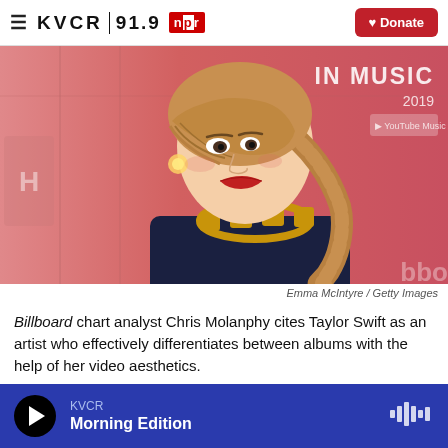≡ KVCR 91.9 npr ♥ Donate
[Figure (photo): Photo of Taylor Swift at Billboard Women In Music 2019 event, pink background, wearing dark dress with gold chain necklace, red lipstick, blonde hair in braid]
Emma McIntyre / Getty Images
Billboard chart analyst Chris Molanphy cites Taylor Swift as an artist who effectively differentiates between albums with the help of her video aesthetics.
KVCR Morning Edition